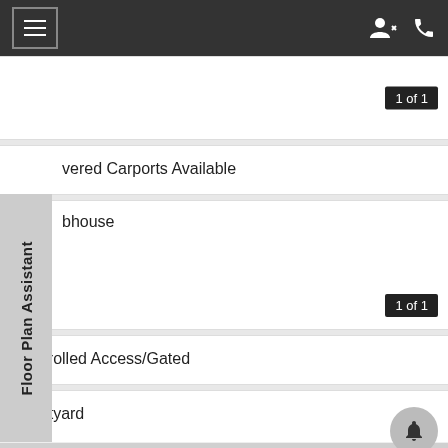Navigation bar with hamburger menu and user/phone icons
[Figure (screenshot): Image carousel placeholder showing '1 of 1' badge]
vered Carports Available
bhouse (with image carousel showing '1 of 1')
Controlled Access/Gated
Courtyard
Storage Units Available
Floor Plan Assistant (side tab label)